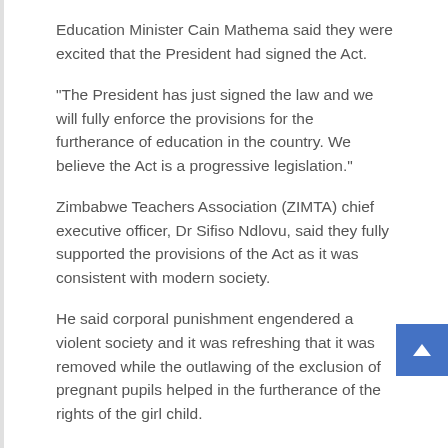Education Minister Cain Mathema said they were excited that the President had signed the Act.
“The President has just signed the law and we will fully enforce the provisions for the furtherance of education in the country. We believe the Act is a progressive legislation.”
Zimbabwe Teachers Association (ZIMTA) chief executive officer, Dr Sifiso Ndlovu, said they fully supported the provisions of the Act as it was consistent with modern society.
He said corporal punishment engendered a violent society and it was refreshing that it was removed while the outlawing of the exclusion of pregnant pupils helped in the furtherance of the rights of the girl child.
Progressive Teachers Union of Zimbabwe secretary-